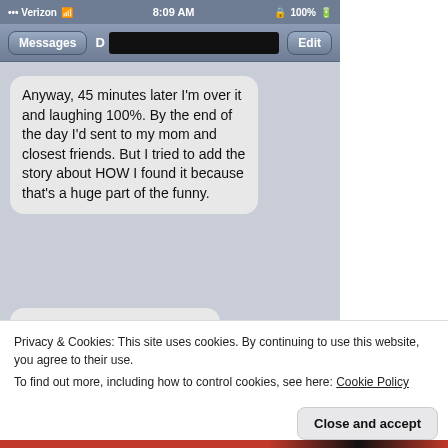[Figure (screenshot): iPhone SMS/Messages app screenshot showing status bar with Verizon carrier, 8:09 AM time, 100% battery. Messages header with back button labeled 'Messages', contact initial 'D' with redacted name, and 'Edit' button. Chat bubble reading: 'Anyway, 45 minutes later I'm over it and laughing 100%. By the end of the day I'd sent to my mom and closest friends. But I tried to add the story about HOW I found it because that's a huge part of the funny.' and partial bubble 'Universal response: she's']
Privacy & Cookies: This site uses cookies. By continuing to use this website, you agree to their use.
To find out more, including how to control cookies, see here: Cookie Policy
Close and accept